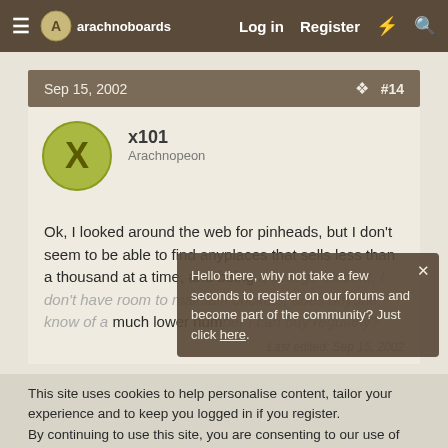arachnoboards — Log in  Register
Sep 15, 2002  #14
x101
Arachnopeon
Ok, I looked around the web for pinheads, but I don't seem to be able to find anyplaces that sells less than a thousand at a time, and being a college student, I don't have room to maintain crickets, does anyone know of a much lower number I can buy regularly?
Last edited: Sep 15, 2002
Hello there, why not take a few seconds to register on our forums and become part of the community? Just click here.
This site uses cookies to help personalise content, tailor your experience and to keep you logged in if you register.
By continuing to use this site, you are consenting to our use of cookies.
✓ Accept   Learn more...